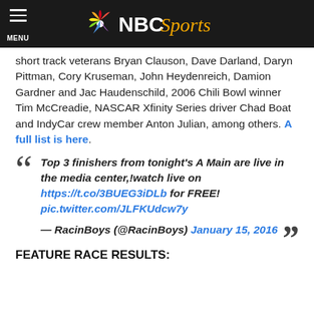NBC Sports
short track veterans Bryan Clauson, Dave Darland, Daryn Pittman, Cory Kruseman, John Heydenreich, Damion Gardner and Jac Haudenschild, 2006 Chili Bowl winner Tim McCreadie, NASCAR Xfinity Series driver Chad Boat and IndyCar crew member Anton Julian, among others. A full list is here.
Top 3 finishers from tonight's A Main are live in the media center,!watch live on https://t.co/3BUEG3iDLb for FREE! pic.twitter.com/JLFKUdcw7y — RacinBoys (@RacinBoys) January 15, 2016
FEATURE RACE RESULTS: